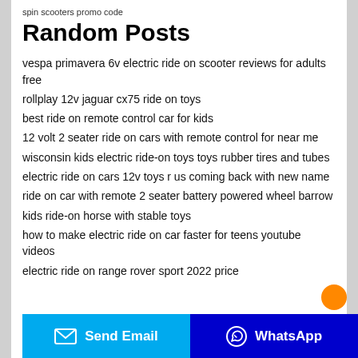spin scooters promo code
Random Posts
vespa primavera 6v electric ride on scooter reviews for adults free
rollplay 12v jaguar cx75 ride on toys
best ride on remote control car for kids
12 volt 2 seater ride on cars with remote control for near me
wisconsin kids electric ride-on toys toys rubber tires and tubes
electric ride on cars 12v toys r us coming back with new name
ride on car with remote 2 seater battery powered wheel barrow
kids ride-on horse with stable toys
how to make electric ride on car faster for teens youtube videos
electric ride on range rover sport 2022 price